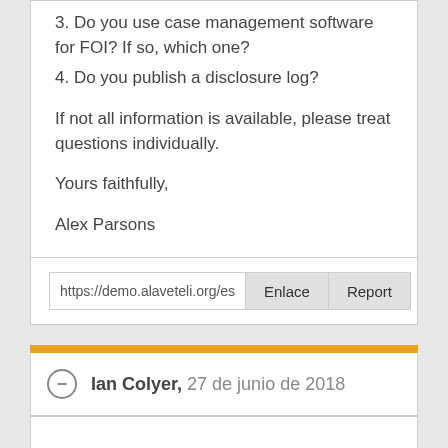3. Do you use case management software for FOI? If so, which one?
4. Do you publish a disclosure log?
If not all information is available, please treat questions individually.
Yours faithfully,
Alex Parsons
https://demo.alaveteli.org/es/requ
Enlace
Report
Ian Colyer, 27 de junio de 2018